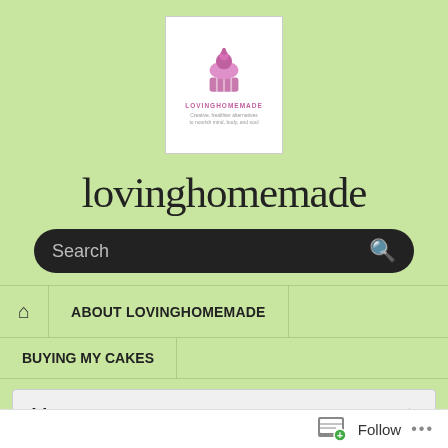[Figure (logo): Lovinghomemade website logo: pink cupcake icon with site name and tagline on white background]
lovinghomemade
[Figure (screenshot): Search bar with dark rounded background and search icon]
HOME  ABOUT LOVINGHOMEMADE  BUYING MY CAKES
Menu
HOME › BAKING › BLACKBERRY CAKE BARS
Follow